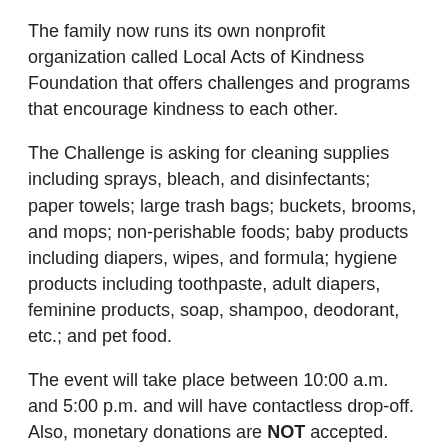The family now runs its own nonprofit organization called Local Acts of Kindness Foundation that offers challenges and programs that encourage kindness to each other.
The Challenge is asking for cleaning supplies including sprays, bleach, and disinfectants; paper towels; large trash bags; buckets, brooms, and mops; non-perishable foods; baby products including diapers, wipes, and formula; hygiene products including toothpaste, adult diapers, feminine products, soap, shampoo, deodorant, etc.; and pet food.
The event will take place between 10:00 a.m. and 5:00 p.m. and will have contactless drop-off.  Also, monetary donations are NOT accepted.
For more information, email Local Acts of Kindness Foundation at LAOKfoundation@gmail.com.